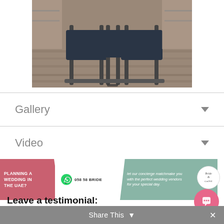[Figure (photo): Photo of salon chairs/barber chairs with metal frames on a wooden floor, showing the bottom portion/legs of the chairs.]
Gallery
Video
Reviews
[Figure (infographic): Wedding planning banner with pink section 'PLANNING A WEDDING IN THE UAE?', WhatsApp number '058 58 BRIDE', teal section with concierge matchmaking text, and BrideandGrove logo circle.]
Leave a testimonial:
Your Name
Share This